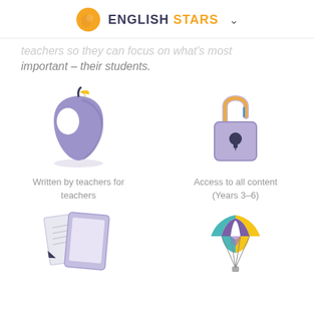ENGLISH STARS
teachers so they can focus on what's most important – their students.
[Figure (illustration): Purple apple icon with yellow-green leaf and blue stem, teacher/education symbol]
[Figure (illustration): Open purple padlock icon, representing unlocked/accessible content]
Written by teachers for teachers
Access to all content (Years 3–6)
[Figure (illustration): Paper documents and tablet device illustration]
[Figure (illustration): Colorful parachute illustration in yellow, teal and purple]